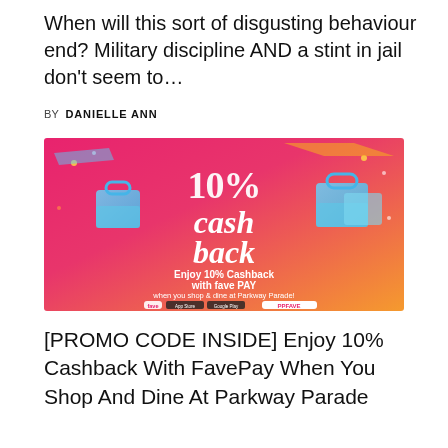When will this sort of disgusting behaviour end? Military discipline AND a stint in jail don't seem to…
BY  DANIELLE ANN
[Figure (photo): Promotional advertisement banner for FavePay offering 10% Cashback when you shop & dine at Parkway Parade. Features bold pink/orange gradient background with shopping bag graphic, '10% cashback' in large white script text, 'Enjoy 10% Cashback with fave PAY when you shop & dine at Parkway Parade!' text, promo code PPFAVE, and app store download links.]
[PROMO CODE INSIDE] Enjoy 10% Cashback With FavePay When You Shop And Dine At Parkway Parade